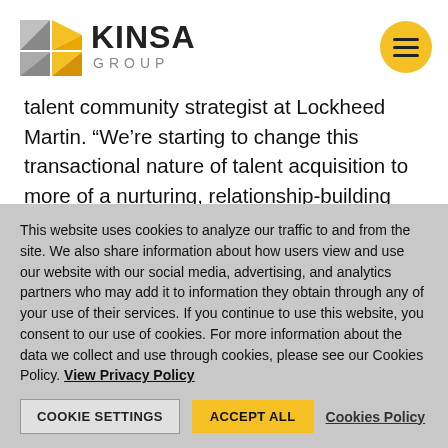[Figure (logo): Kinsa Group logo with geometric diamond/triangle shapes in grey and yellow, with text KINSA GROUP]
talent community strategist at Lockheed Martin. “We’re starting to change this transactional nature of talent acquisition to more of a nurturing, relationship-building approach to things.” Recruiting marketing is taking over.
This website uses cookies to analyze our traffic to and from the site. We also share information about how users view and use our website with our social media, advertising, and analytics partners who may add it to information they obtain through any of your use of their services. If you continue to use this website, you consent to our use of cookies. For more information about the data we collect and use through cookies, please see our Cookies Policy. View Privacy Policy
COOKIE SETTINGS   ACCEPT ALL   Cookies Policy